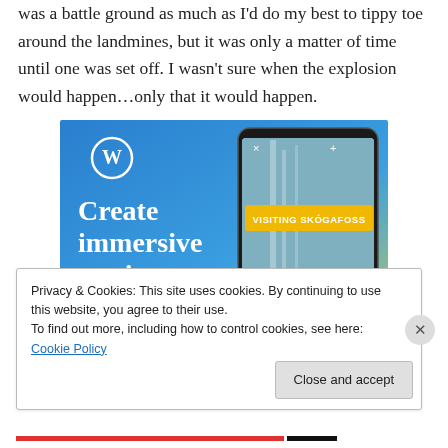was a battle ground as much as I'd do my best to tippy toe around the landmines, but it was only a matter of time until one was set off. I wasn't sure when the explosion would happen…only that it would happen.
[Figure (illustration): WordPress advertisement banner showing the WordPress logo (W in a circle) on a blue gradient background with the text 'Create immersive stories.' and a smartphone displaying a travel story with a waterfall image labeled 'VISITING SKÓGAFOSS']
Privacy & Cookies: This site uses cookies. By continuing to use this website, you agree to their use.
To find out more, including how to control cookies, see here: Cookie Policy